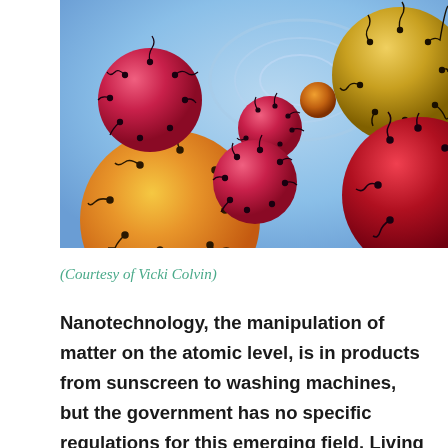[Figure (illustration): Artistic illustration of nanoparticles: colorful spherical particles (red, orange, gold, pink) covered with spiky protrusions and wavy filaments, floating against a light blue swirling background.]
(Courtesy of Vicki Colvin)
Nanotechnology, the manipulation of matter on the atomic level, is in products from sunscreen to washing machines, but the government has no specific regulations for this emerging field. Living